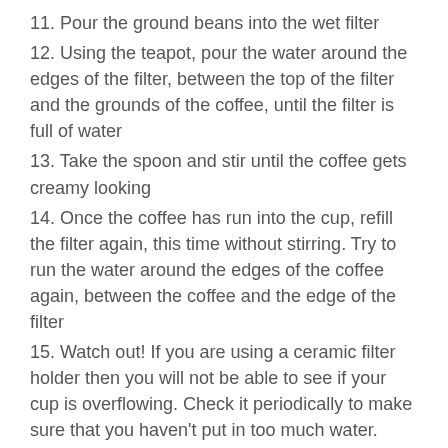11. Pour the ground beans into the wet filter
12. Using the teapot, pour the water around the edges of the filter, between the top of the filter and the grounds of the coffee, until the filter is full of water
13. Take the spoon and stir until the coffee gets creamy looking
14. Once the coffee has run into the cup, refill the filter again, this time without stirring. Try to run the water around the edges of the coffee again, between the coffee and the edge of the filter
15. Watch out! If you are using a ceramic filter holder then you will not be able to see if your cup is overflowing. Check it periodically to make sure that you haven't put in too much water.
And that is it – in about the same amount of